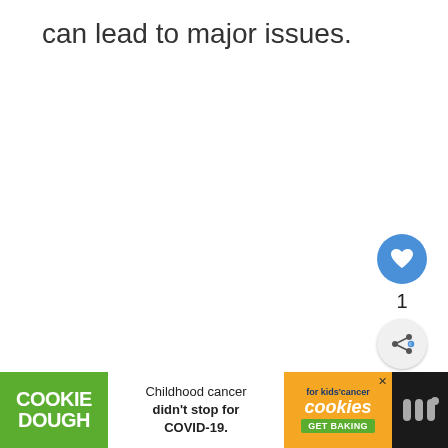can lead to major issues.
[Figure (screenshot): UI widget showing a heart/like button (blue circle with white heart icon), a count of 1, and a share button (light circle with share icon)]
[Figure (screenshot): What's Next panel showing a thumbnail with thumbs up icon, label 'WHAT'S NEXT →', and text 'How to see first messag...']
[Figure (screenshot): Advertisement bar: Cookie Dough green block on left, center white area with text 'Childhood cancer didn't stop for COVID-19.', orange Cookies for Kids Cancer block with GET BAKING button, and dark right section with stylized WW logo]